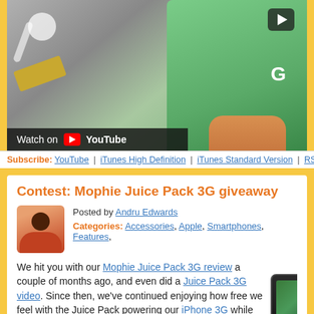[Figure (screenshot): YouTube video thumbnail showing a green smartphone being held, with earbuds/accessories and a play button overlay, and a 'Watch on YouTube' bar at bottom left]
Subscribe: YouTube | iTunes High Definition | iTunes Standard Version | RSS
Contest: Mophie Juice Pack 3G giveaway
Posted by Andru Edwards
Categories: Accessories, Apple, Smartphones, Features,
We hit you with our Mophie Juice Pack 3G review a couple of months ago, and even did a Juice Pack 3G video. Since then, we've continued enjoying how free we feel with the Juice Pack powering our iPhone 3G while we are out and about. Worries of a dead battery have all but disappeared, and that's with Push mail, calendars, and contacts running.